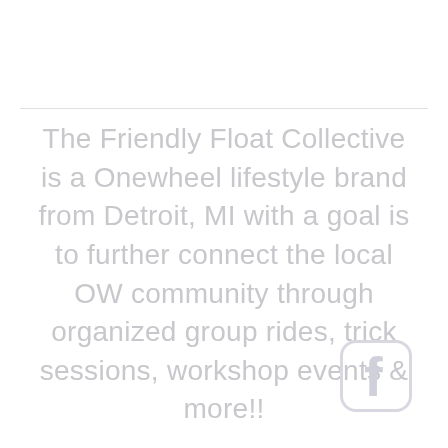The Friendly Float Collective is a Onewheel lifestyle brand from Detroit, MI with a goal is to further connect the local OW community through organized group rides, trick sessions, workshop events & more!!
[Figure (logo): Facebook logo icon — rounded square outline with a white 'f' letter inside, rendered in light gray]